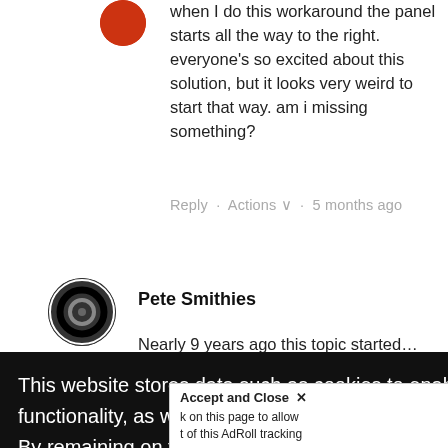when I do this workaround the panel starts all the way to the right. everyone's so excited about this solution, but it looks very weird to start that way. am i missing something?
Reply · Actions ∨ · 5 months ago
Pete Smithies
Nearly 9 years ago this topic started… and still…
This website stores data such as cookies to enable essential site functionality, as well as marketing, personalization, and analytics. By remaining on this website you indicate your consent.
Privacy Notice
Accept and Close ✕
k on this page to allow t of this AdRoll tracking